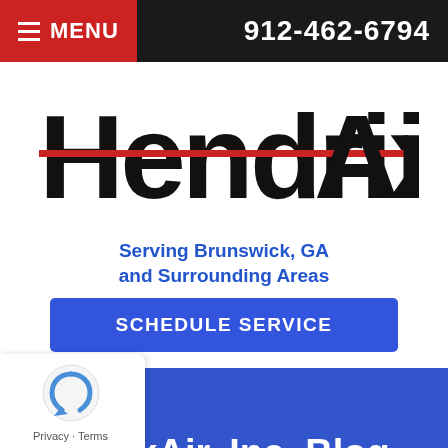MENU  912-462-6794
[Figure (logo): HendrixAir logo with large stylized text 'HendrixAir' and a red horizontal line through the middle of the text]
Serving Brunswick, GA and Surrounding Areas
SCHEDULE SERVICE
HendrixAir, Inc. Blog
Privacy · Terms